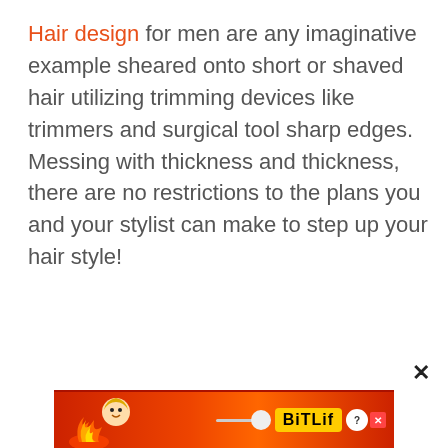Hair design for men are any imaginative example sheared onto short or shaved hair utilizing trimming devices like trimmers and surgical tool sharp edges. Messing with thickness and thickness, there are no restrictions to the plans you and your stylist can make to step up your hair style!
[Figure (illustration): Advertisement banner with fire/cartoon character and BitLife logo with close button]